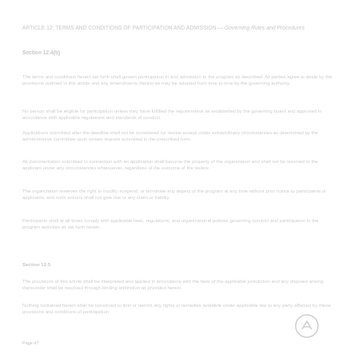ARTICLE 12: TERMS AND CONDITIONS OF PARTICIPATION AND ADMISSION
Section 12.4(b)
The terms and conditions herein set forth shall govern participation in and admission to the program as described. All parties agree to abide by the provisions outlined.
No person shall be eligible for participation unless they have fulfilled the requirements as established by the governing board and approved in accordance with applicable regulations.
Applications submitted after the deadline shall not be considered for review except under extraordinary circumstances as determined by the administrative committee upon written request.
All documentation submitted in connection with an application shall become the property of the organization and shall not be returned to the applicant under any circumstances.
The organization reserves the right to modify, suspend, or terminate any aspect of the program at any time without prior notice to participants or applicants.
Participants shall at all times comply with applicable laws, regulations, and organizational policies governing conduct and participation in the program activities.
Section 12.5
The provisions of this article shall be interpreted and applied in accordance with the laws of the applicable jurisdiction and any disputes arising thereunder shall be resolved through binding arbitration.
Nothing contained herein shall be construed to limit or restrict any rights or remedies available under applicable law to any party affected by these provisions.
Page 47